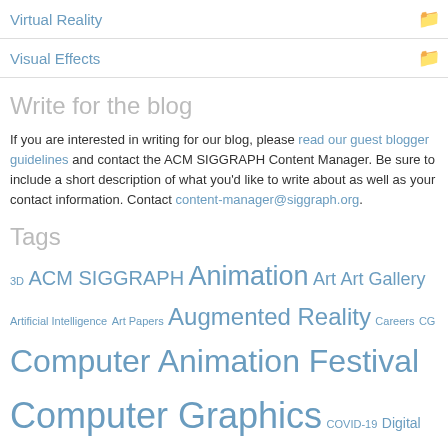Virtual Reality
Visual Effects
Write for the blog
If you are interested in writing for our blog, please read our guest blogger guidelines and contact the ACM SIGGRAPH Content Manager. Be sure to include a short description of what you'd like to write about as well as your contact information. Contact content-manager@siggraph.org.
Tags
3D ACM SIGGRAPH Animation Art Art Gallery Artificial Intelligence Art Papers Augmented Reality Careers CG Computer Animation Festival Computer Graphics COVID-19 Digital Art Electronic Theater Emerging Technologies Game